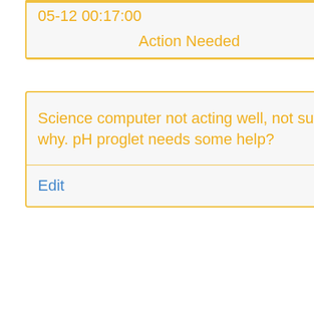05-12 00:17:00
Action Needed
Science computer not acting well, not sure why. pH proglet needs some help?
Edit
Created by: dkaragon @ 2021-05-12 00:16:31
Informational
Science went out service at the end of